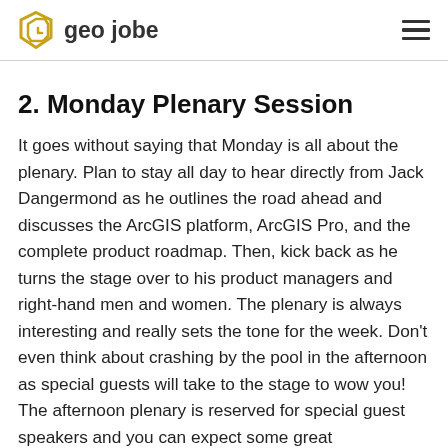geo jobe
2. Monday Plenary Session
It goes without saying that Monday is all about the plenary. Plan to stay all day to hear directly from Jack Dangermond as he outlines the road ahead and discusses the ArcGIS platform, ArcGIS Pro, and the complete product roadmap. Then, kick back as he turns the stage over to his product managers and right-hand men and women. The plenary is always interesting and really sets the tone for the week. Don’t even think about crashing by the pool in the afternoon as special guests will take to the stage to wow you! The afternoon plenary is reserved for special guest speakers and you can expect some great presentations including a look at The Trillion Tree Campaign and a presentation – Our Towns. A 100,000-Mile Journey into the Heart of